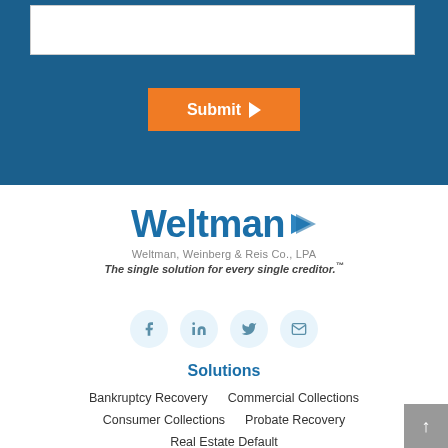[Figure (screenshot): Blue background form section with a white textarea input box and an orange Submit button with arrow icon]
[Figure (logo): Weltman logo — 'Weltman' in large blue text with a blue triangle arrow, subtitle 'Weltman, Weinberg & Reis Co., LPA', tagline 'The single solution for every single creditor.']
[Figure (infographic): Four circular social media icons: Facebook, LinkedIn, Twitter, and Email, on a light blue circle background]
Solutions
Bankruptcy Recovery
Commercial Collections
Consumer Collections
Probate Recovery
Real Estate Default